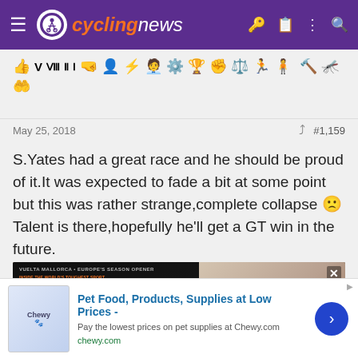cyclingnews
[Figure (screenshot): Toolbar with cycling-related emoji/icon buttons: thumbs up, V, III, II, I, cyclist, person, lightning, presenter, gear, trophy, raised hand, weight, runner, person; second row: hammer, bug/insect, hand gesture]
May 25, 2018    #1,159
S.Yates had a great race and he should be proud of it.It was expected to fade a bit at some point but this was rather strange,complete collapse 🙁 Talent is there,hopefully he'll get a GT win in the future.
[Figure (photo): Advertisement for ProCycling magazine featuring cover with TERRESTRA headline and cyclist face, alongside a coffee cup on wooden table. Ad cross button visible top right.]
[Figure (screenshot): Bottom banner ad: Pet Food, Products, Supplies at Low Prices - Pay the lowest prices on pet supplies at Chewy.com with chewy.com URL and blue arrow button]